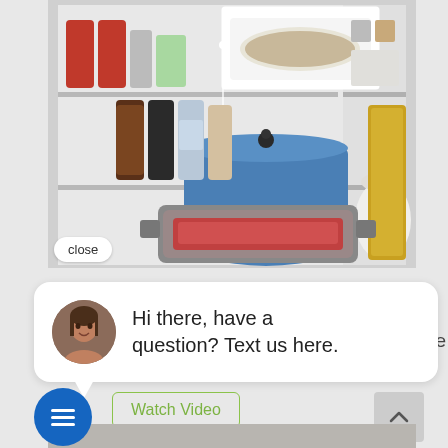[Figure (screenshot): Screenshot of a website showing an open refrigerator/freezer with food items on shelves, with a white highlighted selection box around a dish on the top shelf. Various condiment bottles and cookware visible on shelves.]
close
Hi there, have a question? Text us here.
o create
Watch Video
[Figure (screenshot): Bottom portion of a product page image, appears to show kitchen appliance.]